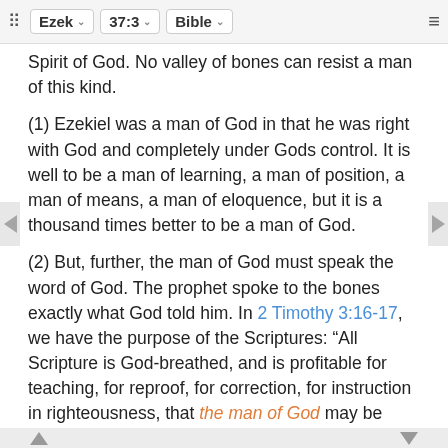⠿  Ezek  ∨  37:3  ∨  Bible  ∨  ≡
Spirit of God. No valley of bones can resist a man of this kind.
(1) Ezekiel was a man of God in that he was right with God and completely under Gods control. It is well to be a man of learning, a man of position, a man of means, a man of eloquence, but it is a thousand times better to be a man of God.
(2) But, further, the man of God must speak the word of God. The prophet spoke to the bones exactly what God told him. In 2 Timothy 3:16-17, we have the purpose of the Scriptures: “All Scripture is God-breathed, and is profitable for teaching, for reproof, for correction, for instruction in righteousness, that the man of God may be complete, furnished completely unto every good work.” The man of God has the whole Bible from which to draw equipment for every good work